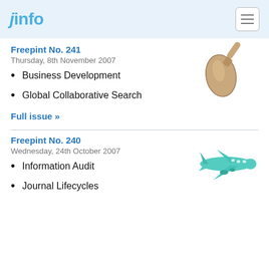jinfo
Freepint No. 241
Thursday, 8th November 2007
Business Development
Global Collaborative Search
Full issue »
Freepint No. 240
Wednesday, 24th October 2007
Information Audit
Journal Lifecycles